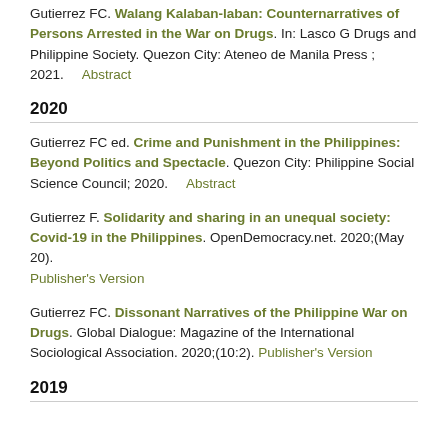Gutierrez FC. Walang Kalaban-laban: Counternarratives of Persons Arrested in the War on Drugs. In: Lasco G Drugs and Philippine Society. Quezon City: Ateneo de Manila Press ; 2021.    Abstract
2020
Gutierrez FC ed. Crime and Punishment in the Philippines: Beyond Politics and Spectacle. Quezon City: Philippine Social Science Council; 2020.    Abstract
Gutierrez F. Solidarity and sharing in an unequal society: Covid-19 in the Philippines. OpenDemocracy.net. 2020;(May 20). Publisher's Version
Gutierrez FC. Dissonant Narratives of the Philippine War on Drugs. Global Dialogue: Magazine of the International Sociological Association. 2020;(10:2). Publisher's Version
2019